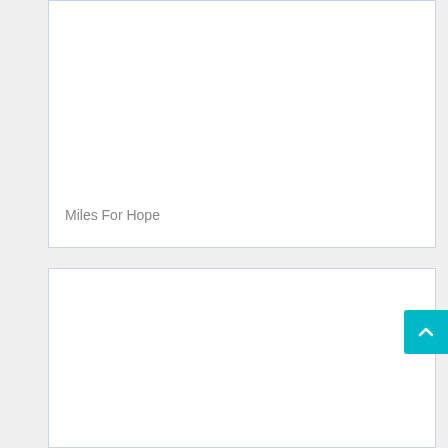[Figure (other): Top white card container with light blue border, mostly empty white space]
Miles For Hope
[Figure (other): Bottom white card container with light blue border, mostly empty white space]
[Figure (other): Teal scroll-to-top button with upward chevron arrow on right edge of page]